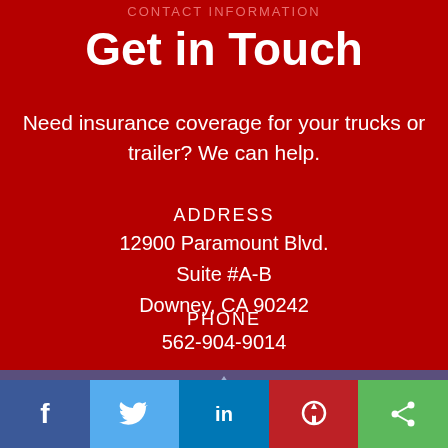CONTACT INFORMATION
Get in Touch
Need insurance coverage for your trucks or trailer? We can help.
ADDRESS
12900 Paramount Blvd.
Suite #A-B
Downey, CA 90242
PHONE
562-904-9014
FAX
f  Twitter  in  Pinterest  Share